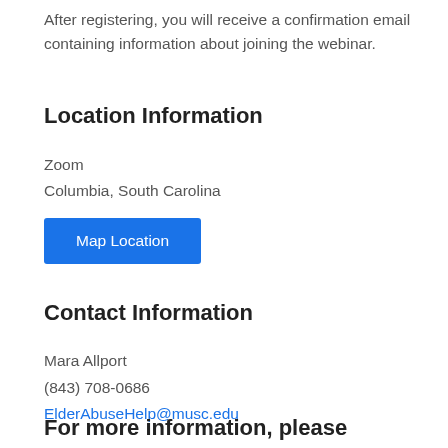After registering, you will receive a confirmation email containing information about joining the webinar.
Location Information
Zoom
Columbia, South Carolina
Map Location
Contact Information
Mara Allport
(843) 708-0686
ElderAbuseHelp@musc.edu
For more information, please